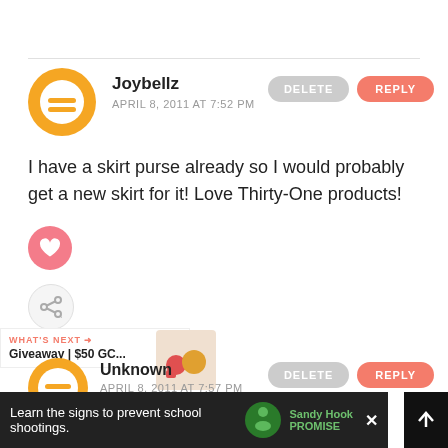Joybellz
APRIL 8, 2011 AT 7:52 PM
I have a skirt purse already so I would probably get a new skirt for it! Love Thirty-One products!
Unknown
APRIL 8, 2011 AT 7:57 PM
Learn the signs to prevent school shootings.